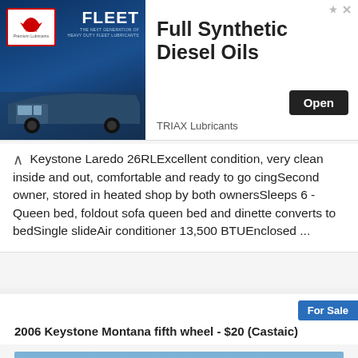[Figure (screenshot): TRIAX Lubricants advertisement banner showing FLEET diesel oils product with truck image]
Keystone Laredo 26RLExcellent condition, very clean inside and out, comfortable and ready to go cincSecond owner, stored in heated shop by both ownersSleeps 6 - Queen bed, foldout sofa queen bed and dinette converts to bedSingle slideAir conditioner 13,500 BTUEnclosed ...
2006 Keystone Montana fifth wheel - $20 (Castaic)
[Figure (photo): Photo of a white 2006 Keystone Montana fifth wheel RV against a blue sky with trees visible]